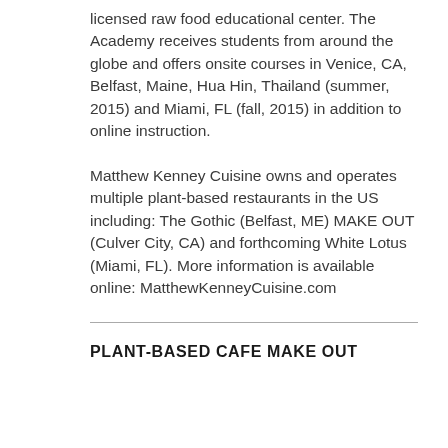licensed raw food educational center. The Academy receives students from around the globe and offers onsite courses in Venice, CA, Belfast, Maine, Hua Hin, Thailand (summer, 2015) and Miami, FL (fall, 2015) in addition to online instruction.
Matthew Kenney Cuisine owns and operates multiple plant-based restaurants in the US including: The Gothic (Belfast, ME) MAKE OUT (Culver City, CA) and forthcoming White Lotus (Miami, FL). More information is available online: MatthewKenneyCuisine.com
PLANT-BASED CAFE MAKE OUT